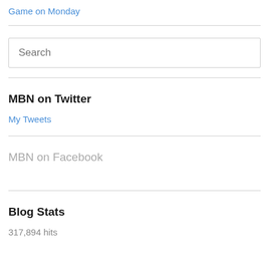Game on Monday
Search
MBN on Twitter
My Tweets
MBN on Facebook
Blog Stats
317,894 hits